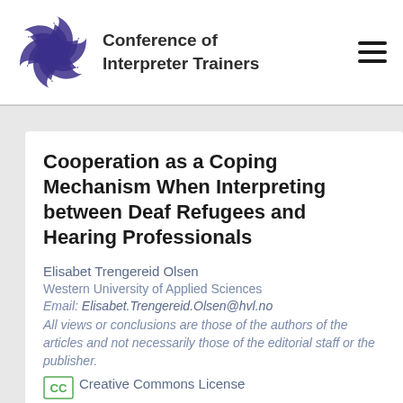Conference of Interpreter Trainers
Cooperation as a Coping Mechanism When Interpreting between Deaf Refugees and Hearing Professionals
Elisabet Trengereid Olsen
Western University of Applied Sciences
Email: Elisabet.Trengereid.Olsen@hvl.no
All views or conclusions are those of the authors of the articles and not necessarily those of the editorial staff or the publisher.
[Figure (logo): Creative Commons License icon — small green bordered CC logo]
Creative Commons License